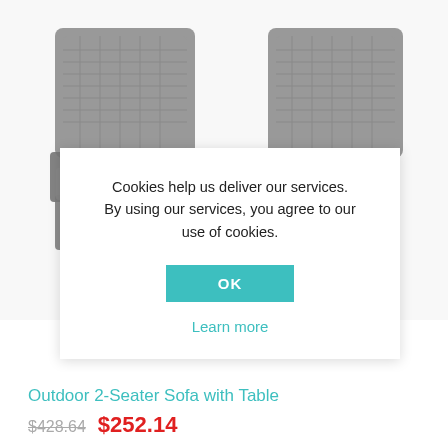[Figure (photo): Outdoor 2-seater sofa with table — gray wicker/rattan furniture with two chairs and a center table, photographed against white background.]
Cookies help us deliver our services. By using our services, you agree to our use of cookies.
OK
Learn more
Outdoor 2-Seater Sofa with Table
$428.64  $252.14